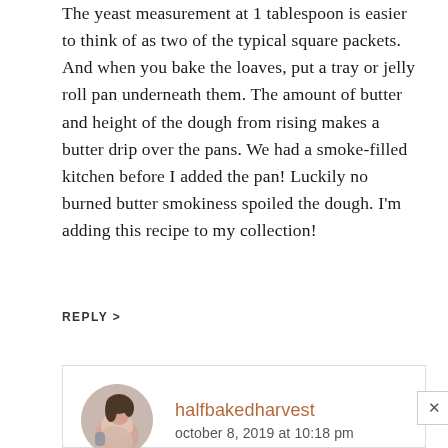The yeast measurement at 1 tablespoon is easier to think of as two of the typical square packets. And when you bake the loaves, put a tray or jelly roll pan underneath them. The amount of butter and height of the dough from rising makes a butter drip over the pans. We had a smoke-filled kitchen before I added the pan! Luckily no burned butter smokiness spoiled the dough. I'm adding this recipe to my collection!
REPLY >
halfbakedharvest
october 8, 2019 at 10:18 pm
I am so happy to hear that these turned out so well for you Jeanne! Thank you so much!
xTieghan